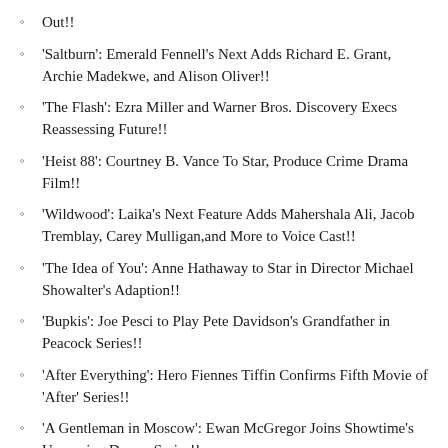Out!!
'Saltburn': Emerald Fennell's Next Adds Richard E. Grant, Archie Madekwe, and Alison Oliver!!
'The Flash': Ezra Miller and Warner Bros. Discovery Execs Reassessing Future!!
'Heist 88': Courtney B. Vance To Star, Produce Crime Drama Film!!
'Wildwood': Laika's Next Feature Adds Mahershala Ali, Jacob Tremblay, Carey Mulligan,and More to Voice Cast!!
'The Idea of You': Anne Hathaway to Star in Director Michael Showalter's Adaption!!
'Bupkis': Joe Pesci to Play Pete Davidson's Grandfather in Peacock Series!!
'After Everything': Hero Fiennes Tiffin Confirms Fifth Movie of 'After' Series!!
'A Gentleman in Moscow': Ewan McGregor Joins Showtime's Upcoming Drama Series!!
'The Nun 2' Sets September 8, 2023 as Release Date!!
'A Thousand Blows': Steven Knight and Stephen Graham Reunite for